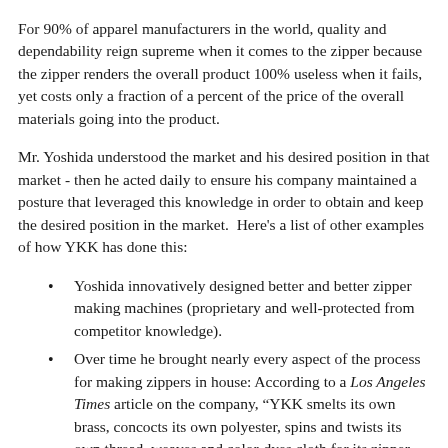For 90% of apparel manufacturers in the world, quality and dependability reign supreme when it comes to the zipper because the zipper renders the overall product 100% useless when it fails, yet costs only a fraction of a percent of the price of the overall materials going into the product.
Mr. Yoshida understood the market and his desired position in that market - then he acted daily to ensure his company maintained a posture that leveraged this knowledge in order to obtain and keep the desired position in the market.  Here's a list of other examples of how YKK has done this:
Yoshida innovatively designed better and better zipper making machines (proprietary and well-protected from competitor knowledge).
Over time he brought nearly every aspect of the process for making zippers in house: According to a Los Angeles Times article on the company, “YKK smelts its own brass, concocts its own polyester, spins and twists its own thread, weaves and color-dyes cloth for its zipper tapes, forges and molds its scooped